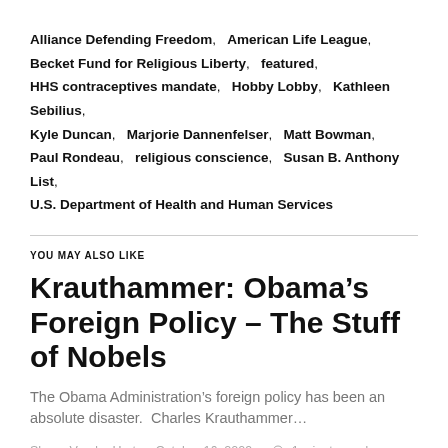Alliance Defending Freedom,   American Life League,  Becket Fund for Religious Liberty,   featured,  HHS contraceptives mandate,   Hobby Lobby,   Kathleen Sebilius,  Kyle Duncan,   Marjorie Dannenfelser,   Matt Bowman,  Paul Rondeau,   religious conscience,   Susan B. Anthony List,  U.S. Department of Health and Human Services
YOU MAY ALSO LIKE
Krauthammer: Obama’s Foreign Policy – The Stuff of Nobels
The Obama Administration’s foreign policy has been an absolute disaster.  Charles Krauthammer…
Shane Vander Hart  ·  October 16, 2009  ·  ⌚ 1 minute read